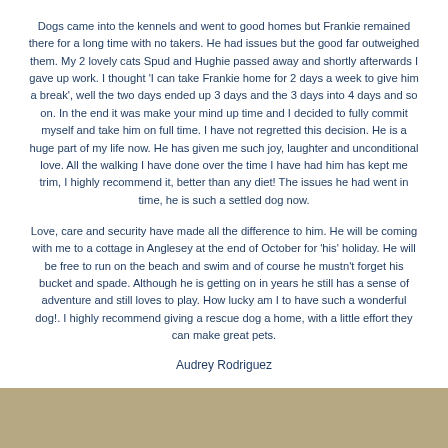Dogs came into the kennels and went to good homes but Frankie remained there for a long time with no takers. He had issues but the good far outweighed them. My 2 lovely cats Spud and Hughie passed away and shortly afterwards I gave up work. I thought 'I can take Frankie home for 2 days a week to give him a break', well the two days ended up 3 days and the 3 days into 4 days and so on. In the end it was make your mind up time and I decided to fully commit myself and take him on full time. I have not regretted this decision. He is a huge part of my life now. He has given me such joy, laughter and unconditional love. All the walking I have done over the time I have had him has kept me trim, I highly recommend it, better than any diet! The issues he had went in time, he is such a settled dog now.
Love, care and security have made all the difference to him. He will be coming with me to a cottage in Anglesey at the end of October for 'his' holiday. He will be free to run on the beach and swim and of course he mustn't forget his bucket and spade. Although he is getting on in years he still has a sense of adventure and still loves to play. How lucky am I to have such a wonderful dog!. I highly recommend giving a rescue dog a home, with a little effort they can make great pets.
Audrey Rodriguez